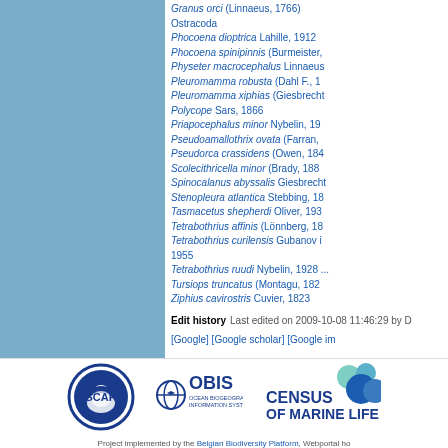[Figure (illustration): Blue sidebar panel on the left side of the page]
Granus orci (Linnaeus, 1766)
Ostracoda
Phocoena dioptrica Lahille, 1912
Phocoena spinipinnis (Burmeister, ...)
Physeter macrocephalus Linnaeus, ...
Pleuromamma robusta (Dahl F., 1...
Pleuromamma xiphias (Giesbrecht, ...)
Polycope Sars, 1866
Priapocephalus minor Nybelin, 19...
Pseudoamallothrix ovata (Farran, ...)
Pseudorca crassidens (Owen, 184...
Scolecithricella minor (Brady, 188...
Spinocalanus abyssalis Giesbrecht, ...
Stenopleura atlantica Stebbing, 18...
Tasmacetus shepherdi Oliver, 193...
Tetrabothrius affinis (Lönnberg, 18...
Tetrabothrius curilensis Gubanov in 1955
Tetrabothrius ruudi Nybelin, 1928 ...
Tursiops truncatus (Montagu, 182...
Ziphius cavirostris Cuvier, 1823
Edit history  Last edited on 2009-10-08 11:46:29 by D...
[Google] [Google scholar] [Google im...
[Figure (logo): SCAR logo - circular blue logo with Antarctic continent and bird]
[Figure (logo): OBIS - Ocean Biogeographic Information System logo]
[Figure (logo): Census of Marine Life logo]
Project implemented by the Belgian Biodiversity Platform, Webportal ho... Page gener...